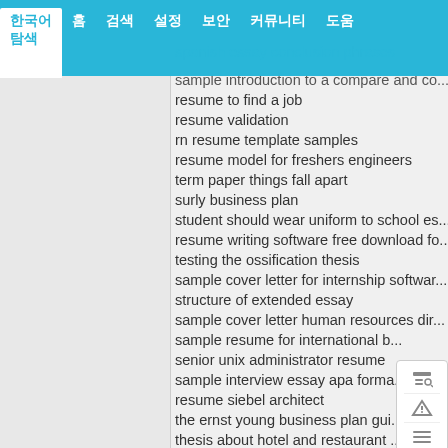한국어 메뉴 탐색 바 (Korean navigation bar)
spanish essay conclusion phrases
sample introduction to a compare and co...
resume to find a job
resume validation
rn resume template samples
resume model for freshers engineers
term paper things fall apart
surly business plan
student should wear uniform to school es...
resume writing software free download fo...
testing the ossification thesis
sample cover letter for internship softwar...
structure of extended essay
sample cover letter human resources dir...
sample resume for international b...
senior unix administrator resume
sample interview essay apa forma...
resume siebel architect
the ernst young business plan gui...
thesis about hotel and restaurant ...
storming darkness sin-thesis
samples of a functional resume
sap pricing resume
stock research paper
sixth form history essay competition
sample mechanical engineering resume